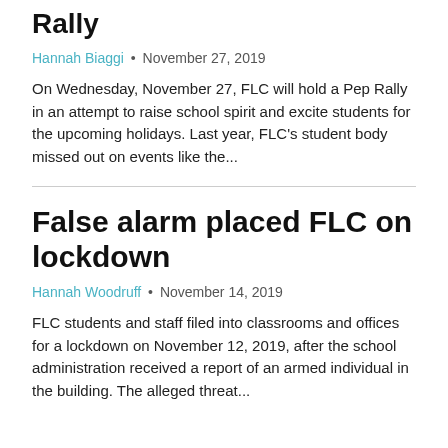Rally
Hannah Biaggi · November 27, 2019
On Wednesday, November 27, FLC will hold a Pep Rally in an attempt to raise school spirit and excite students for the upcoming holidays. Last year, FLC's student body missed out on events like the...
False alarm placed FLC on lockdown
Hannah Woodruff · November 14, 2019
FLC students and staff filed into classrooms and offices for a lockdown on November 12, 2019, after the school administration received a report of an armed individual in the building. The alleged threat...